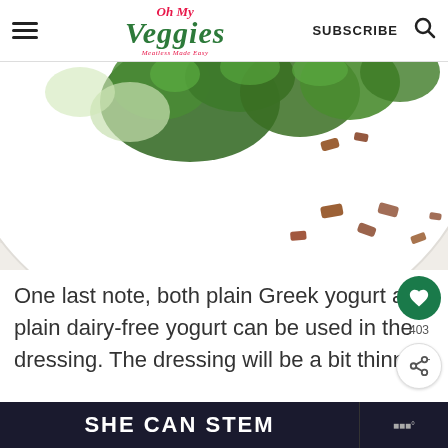Oh My Veggies — Meatless Made Easy | SUBSCRIBE
[Figure (photo): Overhead photo of a white plate with broccoli salad and pieces of bacon/croutons scattered on a white cloth surface]
One last note, both plain Greek yogurt and plain dairy-free yogurt can be used in the dressing. The dressing will be a bit thinner w...
SHE CAN STEM